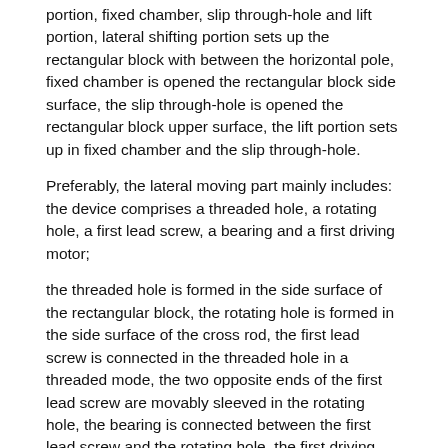portion, fixed chamber, slip through-hole and lift portion, lateral shifting portion sets up the rectangular block with between the horizontal pole, fixed chamber is opened the rectangular block side surface, the slip through-hole is opened the rectangular block upper surface, the lift portion sets up in fixed chamber and the slip through-hole.
Preferably, the lateral moving part mainly includes: the device comprises a threaded hole, a rotating hole, a first lead screw, a bearing and a first driving motor;
the threaded hole is formed in the side surface of the rectangular block, the rotating hole is formed in the side surface of the cross rod, the first lead screw is connected in the threaded hole in a threaded mode, the two opposite ends of the first lead screw are movably sleeved in the rotating hole, the bearing is connected between the first lead screw and the rotating hole, the first driving motor is arranged on the side surface of the cross rod, and the output end of the first driving motor is connected with the first lead screw.
Preferably, the lifting unit mainly includes: the second driving motor, the gear, the vertical rod, the connecting